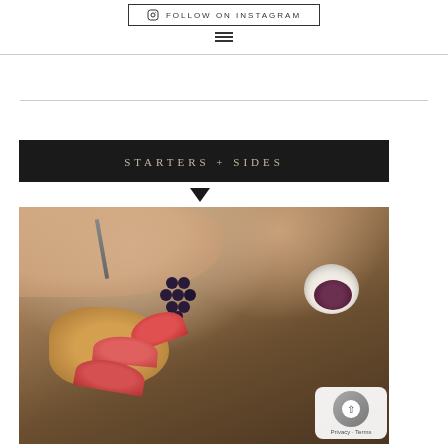FOLLOW ON INSTAGRAM
STARTERS + SIDES
[Figure (photo): Overhead shot of a food spread on a rustic wooden board with pastry, sliced red fruit (plums or peaches), dark grapes, blueberries, and a small bowl of berry compote with a spoon]
Privacy - Terms